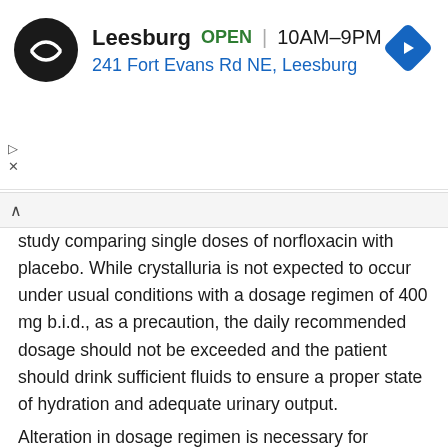[Figure (screenshot): Advertisement banner for CVS Pharmacy Leesburg location showing store logo, open status, hours 10AM-9PM, address 241 Fort Evans Rd NE Leesburg, and navigation icon]
study comparing single doses of norfloxacin with placebo. While crystalluria is not expected to occur under usual conditions with a dosage regimen of 400 mg b.i.d., as a precaution, the daily recommended dosage should not be exceeded and the patient should drink sufficient fluids to ensure a proper state of hydration and adequate urinary output.
Alteration in dosage regimen is necessary for patients with impaired renal function (see DOSAGE AND ADMINISTRATION).
Moderate to severe photosensitivity/phototoxicity